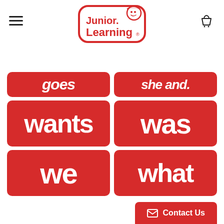[Figure (logo): Junior Learning logo — red rounded rectangle with cartoon child face and 'Junior Learning' text in red]
[Figure (illustration): Grid of red word cards showing sight words: row 1 (partially cropped) 'goes' and 'she and', row 2 'wants' and 'was', row 3 'we' and 'what']
Contact Us